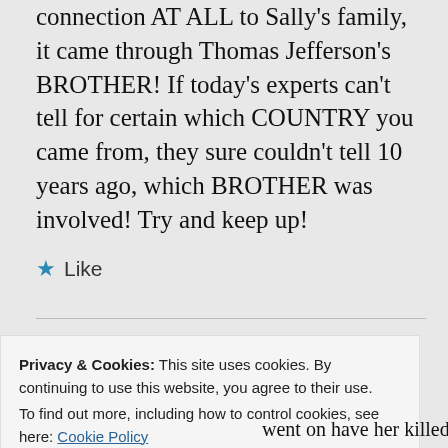connection AT ALL to Sally's family, it came through Thomas Jefferson's BROTHER! If today's experts can't tell for certain which COUNTRY you came from, they sure couldn't tell 10 years ago, which BROTHER was involved! Try and keep up!
★ Like
Privacy & Cookies: This site uses cookies. By continuing to use this website, you agree to their use. To find out more, including how to control cookies, see here: Cookie Policy
Close and accept
went on have her killed, and get